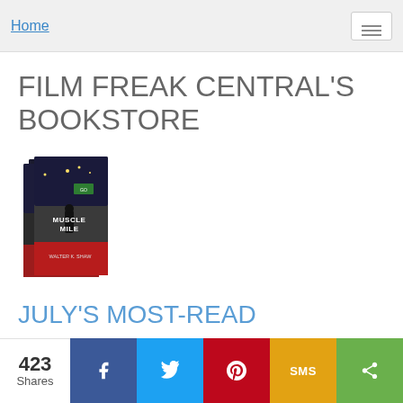Home
FILM FREAK CENTRAL'S BOOKSTORE
[Figure (photo): Book/movie covers collage showing 'Muscle Mile' and other titles]
JULY'S MOST-READ
423 Shares — Facebook, Twitter, Pinterest, SMS, Share